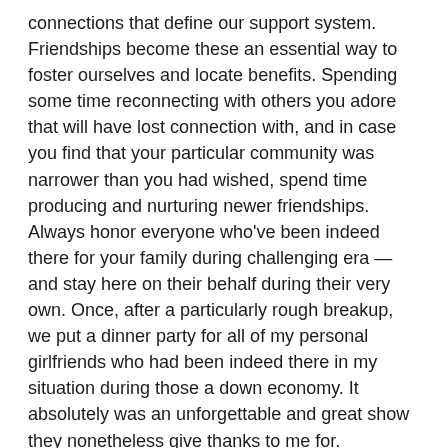connections that define our support system. Friendships become these an essential way to foster ourselves and locate benefits. Spending some time reconnecting with others you adore that will have lost connection with, and in case you find that your particular community was narrower than you had wished, spend time producing and nurturing newer friendships. Always honor everyone who've been indeed there for your family during challenging era — and stay here on their behalf during their very own. Once, after a particularly rough breakup, we put a dinner party for all of my personal girlfriends who had been indeed there in my situation during those a down economy. It absolutely was an unforgettable and great show they nonetheless give thanks to me for.
6. Permits one consider you. This is an enjoyable experience to accomplish all of those issues that you retain meaning to-do but never ever got around to once you had been in a relationship. Just take that artwork course.